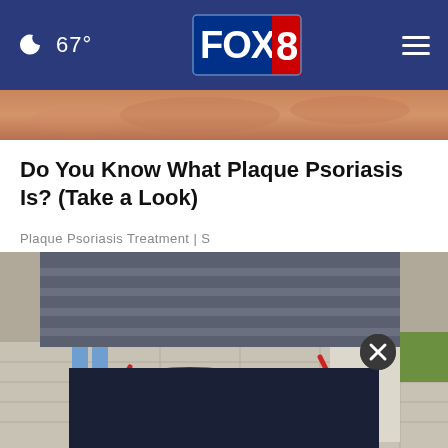🌙 67° | FOX 8
[Figure (photo): Partial view of skin, likely showing a psoriasis condition, pinkish-tan skin color]
Do You Know What Plaque Psoriasis Is? (Take a Look)
Plaque Psoriasis Treatment | S
[Figure (photo): Outdoor scene showing people and debris on paved ground, with red tools/equipment visible. An ad overlay appears at the bottom with a close (X) button.]